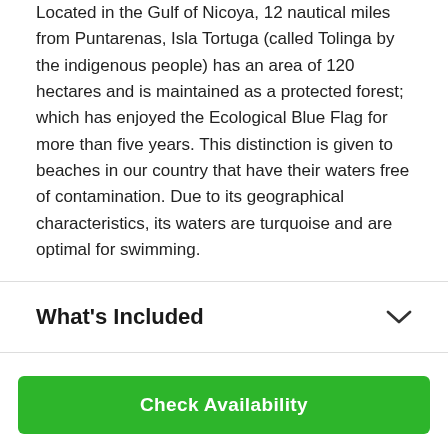Located in the Gulf of Nicoya, 12 nautical miles from Puntarenas, Isla Tortuga (called Tolinga by the indigenous people) has an area of 120 hectares and is maintained as a protected forest; which has enjoyed the Ecological Blue Flag for more than five years. This distinction is given to beaches in our country that have their waters free of contamination. Due to its geographical characteristics, its waters are turquoise and are optimal for swimming.
What's Included
Departure & Return
Check Availability